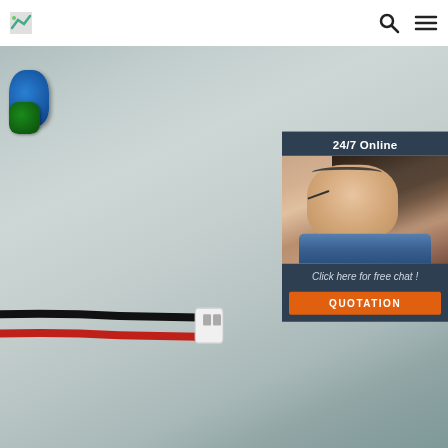Logo | Search | Menu
[Figure (photo): Close-up photo of a small lithium polymer battery with black and red wires attached to a white JST connector, placed on a gray/white textured surface. On the top-left corner of the battery, a blue and black object is partially visible. Overlaid on the right side is a dark blue panel with '24/7 Online' text, a photo of a smiling customer service representative wearing a headset, italic text 'Click here for free chat!', and an orange 'QUOTATION' button.]